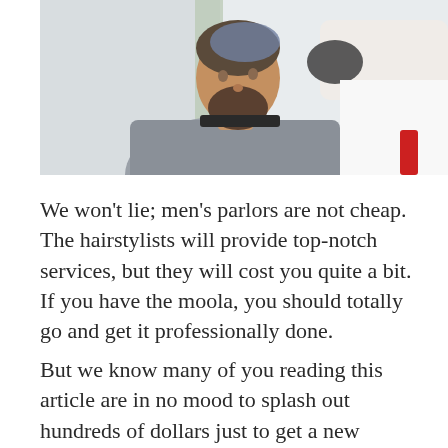[Figure (photo): A man with a beard sitting in a barber chair getting his hair colored/treated. A hairstylist wearing white and gloves is working on his hair. The man is wearing a gray cape.]
We won't lie; men's parlors are not cheap. The hairstylists will provide top-notch services, but they will cost you quite a bit. If you have the moola, you should totally go and get it professionally done.
But we know many of you reading this article are in no mood to splash out hundreds of dollars just to get a new hairdo. We have a cheap and effective way to color your hair at home for you